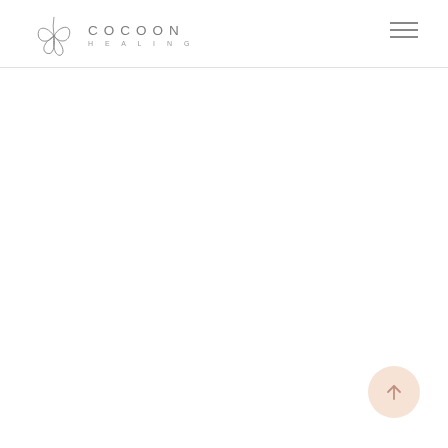[Figure (logo): Cocoon Healing logo with stylized leaf/butterfly outline icon and text 'COCOON HEALING' in light grey letters]
[Figure (other): Hamburger menu icon with three horizontal lines in grey]
[Figure (other): Scroll-to-top button: circular peach/beige colored button with upward arrow icon, positioned bottom-right]